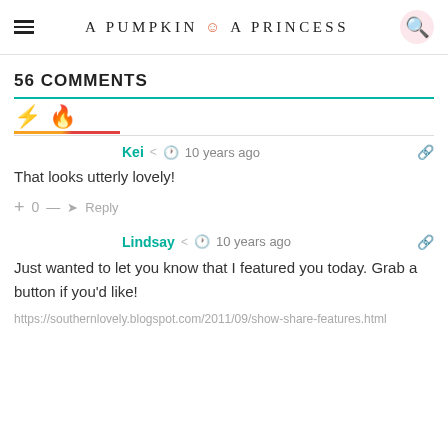A PUMPKIN & A PRINCESS
56 COMMENTS
Kei • 10 years ago
That looks utterly lovely!
+ 0 — → Reply
Lindsay • 10 years ago
Just wanted to let you know that I featured you today. Grab a button if you'd like!
https://southernlovely.blogspot.com/2011/09/show-share-features.html